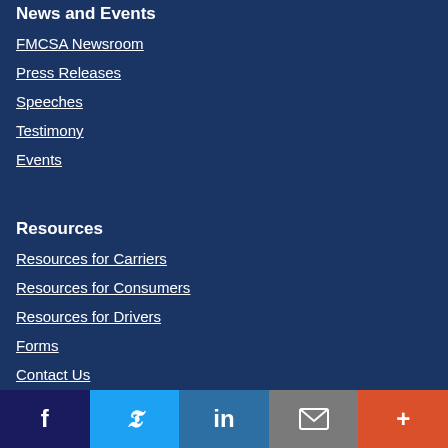News and Events
FMCSA Newsroom
Press Releases
Speeches
Testimony
Events
Resources
Resources for Carriers
Resources for Consumers
Resources for Drivers
Forms
Contact Us
[Figure (infographic): Social media sharing bar with Facebook, Twitter, LinkedIn, Email, and More buttons]